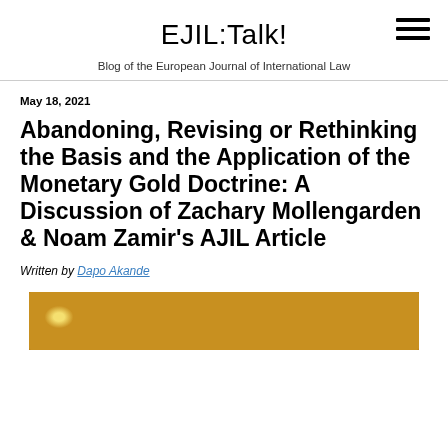EJIL:Talk!
Blog of the European Journal of International Law
May 18, 2021
Abandoning, Revising or Rethinking the Basis and the Application of the Monetary Gold Doctrine: A Discussion of Zachary Mollengarden & Noam Zamir's AJIL Article
Written by Dapo Akande
[Figure (photo): Close-up photograph of gold coins]